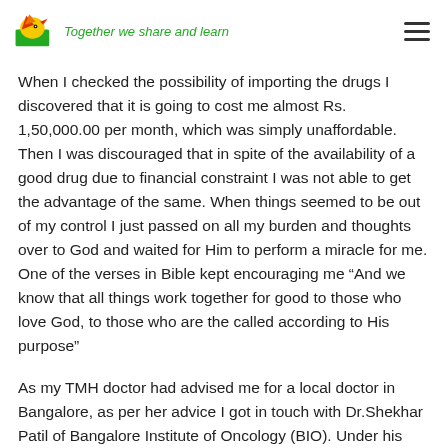Together we share and learn
When I checked the possibility of importing the drugs I discovered that it is going to cost me almost Rs. 1,50,000.00 per month, which was simply unaffordable. Then I was discouraged that in spite of the availability of a good drug due to financial constraint I was not able to get the advantage of the same. When things seemed to be out of my control I just passed on all my burden and thoughts over to God and waited for Him to perform a miracle for me. One of the verses in Bible kept encouraging me “And we know that all things work together for good to those who love God, to those who are the called according to His purpose”
As my TMH doctor had advised me for a local doctor in Bangalore, as per her advice I got in touch with Dr.Shekhar Patil of Bangalore Institute of Oncology (BIO). Under his